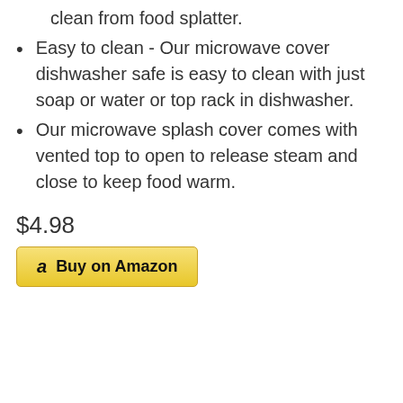clean from food splatter.
Easy to clean - Our microwave cover dishwasher safe is easy to clean with just soap or water or top rack in dishwasher.
Our microwave splash cover comes with vented top to open to release steam and close to keep food warm.
$4.98
Buy on Amazon